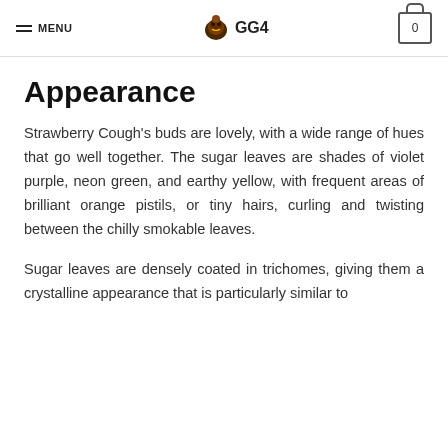MENU | GG4 | 0
Appearance
Strawberry Cough's buds are lovely, with a wide range of hues that go well together. The sugar leaves are shades of violet purple, neon green, and earthy yellow, with frequent areas of brilliant orange pistils, or tiny hairs, curling and twisting between the chilly smokable leaves.
Sugar leaves are densely coated in trichomes, giving them a crystalline appearance that is particularly similar to